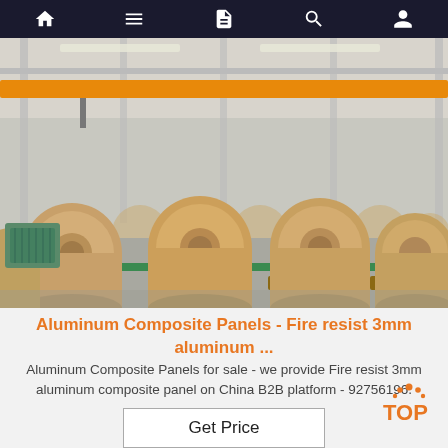Navigation bar with home, menu, document, search, and profile icons
[Figure (photo): Warehouse interior with large rolls of aluminum coil/sheet wrapped in brown kraft paper, stored on wooden pallets. Yellow overhead crane visible. Industrial steel structure building.]
Aluminum Composite Panels - Fire resist 3mm aluminum ...
Aluminum Composite Panels for sale - we provide Fire resist 3mm aluminum composite panel on China B2B platform - 92756196.
[Figure (logo): TOP logo with orange paw print dots above the T and orange text TOP]
Get Price